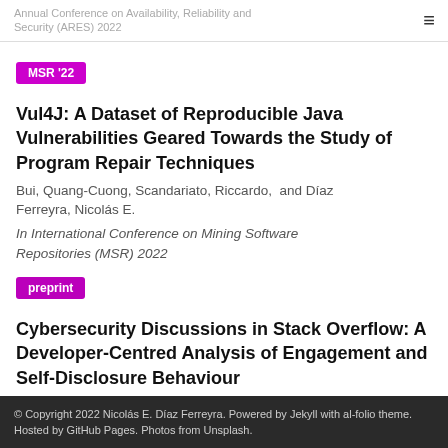Annual Conference on Availability, Reliability and Security (ARES) 2022
MSR '22
Vul4J: A Dataset of Reproducible Java Vulnerabilities Geared Towards the Study of Program Repair Techniques
Bui, Quang-Cuong, Scandariato, Riccardo,  and Díaz Ferreyra, Nicolás E.
In International Conference on Mining Software Repositories (MSR) 2022
preprint
Cybersecurity Discussions in Stack Overflow: A Developer-Centred Analysis of Engagement and Self-Disclosure Behaviour
Díaz Ferreyra, Nicolás E., Vidoni, Melina,  Heisel, Maritta and 1 more others
© Copyright 2022 Nicolás E. Díaz Ferreyra. Powered by Jekyll with al-folio theme. Hosted by GitHub Pages. Photos from Unsplash.